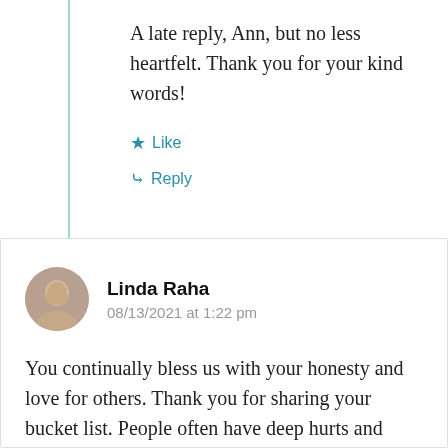A late reply, Ann, but no less heartfelt. Thank you for your kind words!
Like
Reply
Linda Raha
08/13/2021 at 1:22 pm
You continually bless us with your honesty and love for others. Thank you for sharing your bucket list. People often have deep hurts and many never